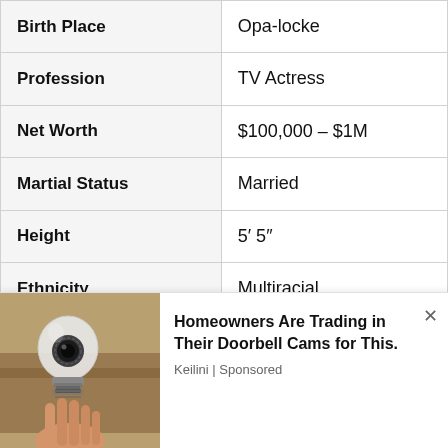| Field | Value |
| --- | --- |
| Birth Place | Opa-locke |
| Profession | TV Actress |
| Net Worth | $100,000 – $1M |
| Martial Status | Married |
| Height | 5′ 5″ |
| Ethnicity | Multiracial |
| Nationality | American |
| Weight | N/A lbs (N/A kg) |
| Hair Color | Black |
[Figure (photo): Advertisement showing a hand holding a smart light bulb camera device with text overlay]
Homeowners Are Trading in Their Doorbell Cams for This. Keilini | Sponsored